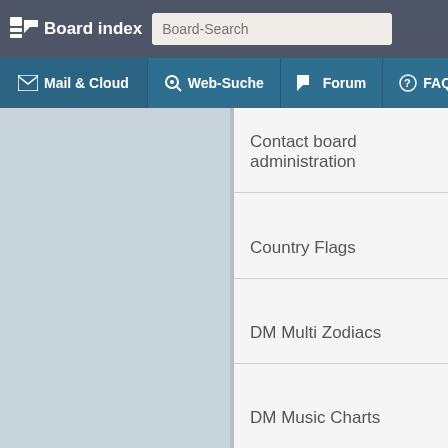Board index
Mail & Cloud | Web-Suche | Forum | FAQ | Ne...
Contact board administration
Country Flags
DM Multi Zodiacs
DM Music Charts